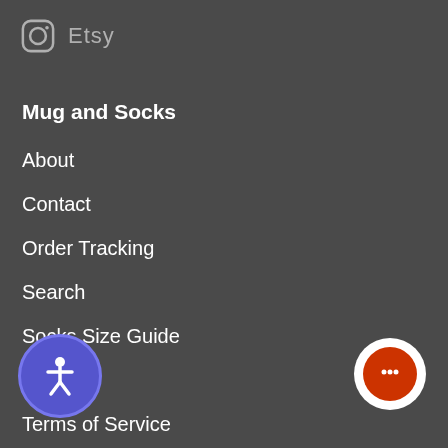Etsy
Mug and Socks
About
Contact
Order Tracking
Search
Socks Size Guide
Blog
Terms of Service
Privacy Policy
Shipping Policy
Policy
Sales Points
[Figure (illustration): Accessibility button with person icon]
[Figure (illustration): Chat button with speech bubble icon]